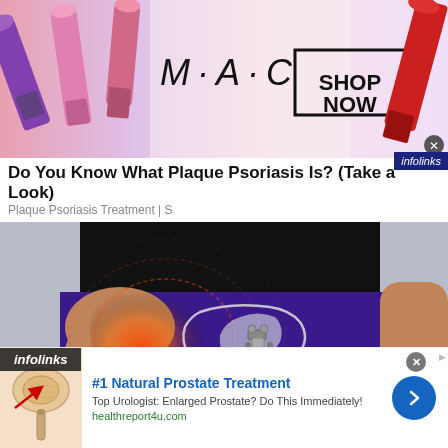[Figure (photo): MAC cosmetics advertisement banner showing lipsticks in purple, pink and red colors with MAC logo and SHOP NOW button]
Do You Know What Plaque Psoriasis Is? (Take a Look)
Plaque Psoriasis Treatment | S
[Figure (photo): Medical illustration showing a person wearing a black top and purple leggings with an anatomical overlay of the hip/pelvic area with red pain indicators]
[Figure (photo): Bottom advertisement: #1 Natural Prostate Treatment - Top Urologist: Enlarged Prostate? Do This Immediately! healthreport4u.com - with anatomical prostate image on the left and blue arrow button on the right]